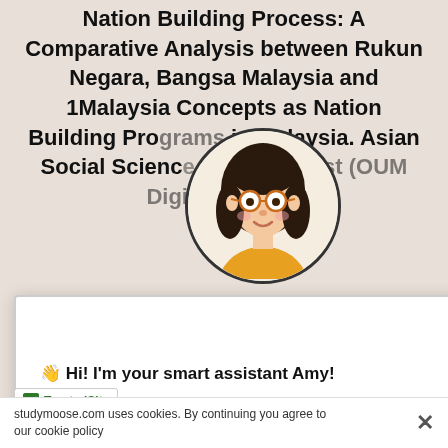Nation Building Process: A Comparative Analysis between Rukun Negara, Bangsa Malaysia and 1Malaysia Concepts as Nation Building Programs in Malaysia. Asian Social Science... ebscohost (OUM Digital ...ction)
...ctions on the ...alaysia. In ...laysia from ...Malaysian ...221-254). ...r.
...010 Budget
[Figure (illustration): Circular avatar of an animated girl with dark hair, glasses, and an orange/yellow top, inside a circle with a dark border]
👋 Hi! I'm your smart assistant Amy!
Don't know where to start? Type your requirements and I'll connect you to an academic expert within 3 minutes.
GET HELP WITH YOUR ASSIGNMENT
studymoose.com uses cookies. By continuing you agree to our cookie policy
[Figure (logo): TrustedSite badge with green checkmark]
[Onlin
u.treasu...